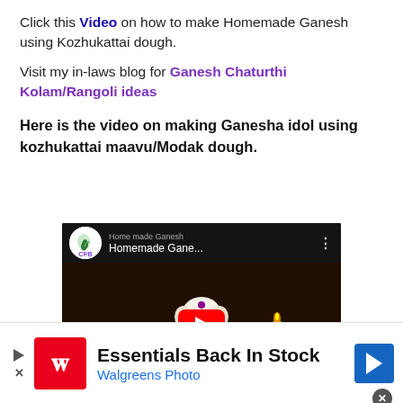Click this Video on how to make Homemade Ganesh using Kozhukattai dough.
Visit my in-laws blog for Ganesh Chaturthi Kolam/Rangoli ideas
Here is the video on making Ganesha idol using kozhukattai maavu/Modak dough.
[Figure (screenshot): YouTube video embed showing CFB channel with title 'Homemade Gane...' featuring a Ganesh idol on a decorative plate with a lamp in the background and a red play button overlay]
[Figure (screenshot): Walgreens Photo advertisement banner with red Walgreens logo, text 'Essentials Back In Stock' and 'Walgreens Photo', and a blue navigation arrow icon]